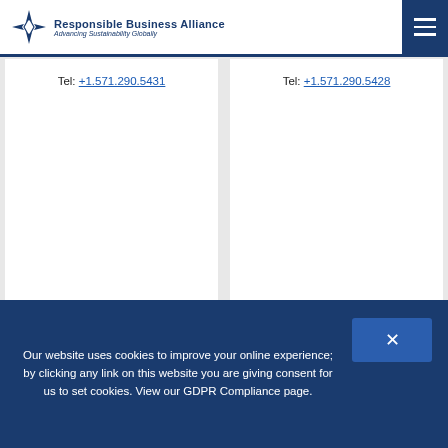Responsible Business Alliance — Advancing Sustainability Globally
Tel: +1.571.290.5431
View Bio
Tel: +1.571.290.5428
View Bio
[Figure (photo): Partial headshot of a person with dark hair against a gray background, left column]
[Figure (photo): Partial headshot of a person with dark hair against a gray background, right column]
Our website uses cookies to improve your online experience; by clicking any link on this website you are giving consent for us to set cookies. View our GDPR Compliance page.